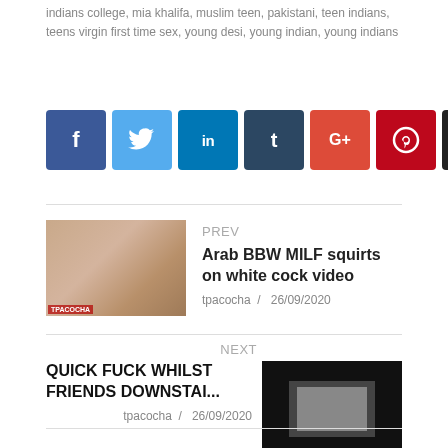indians college, mia khalifa, muslim teen, pakistani, teen indians, teens virgin first time sex, young desi, young indian, young indians
[Figure (infographic): Row of 8 social share buttons: Facebook (dark blue), Twitter (light blue), LinkedIn (blue), Tumblr (dark navy), Google+ (red), Pinterest (dark red), VK (black), Email (green)]
PREV
Arab BBW MILF squirts on white cock video
tpacocha / 26/09/2020
NEXT
QUICK FUCK WHILST FRIENDS DOWNSTAI...
tpacocha / 26/09/2020